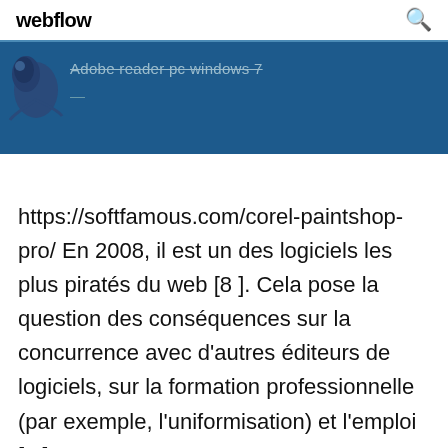webflow
[Figure (screenshot): Dark blue banner with a bird icon on the left and crossed-out text 'Adobe reader pc windows 7' and a dash below it]
https://softfamous.com/corel-paintshop-pro/ En 2008, il est un des logiciels les plus piratés du web [8 ]. Cela pose la question des conséquences sur la concurrence avec d'autres éditeurs de logiciels, sur la formation professionnelle (par exemple, l'uniformisation) et l'emploi [9 ],...